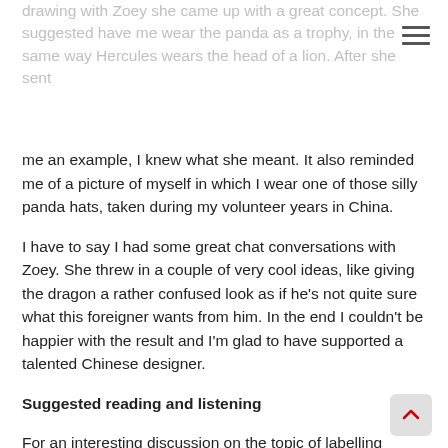drawing with Zoey she came up with a great concept. She suggested have me wear the panda as a trophy, in the same way Hercules wears the head of a lion. After she sent me an example, I knew what she meant. It also reminded me of a picture of myself in which I wear one of those silly panda hats, taken during my volunteer years in China.
I have to say I had some great chat conversations with Zoey. She threw in a couple of very cool ideas, like giving the dragon a rather confused look as if he's not quite sure what this foreigner wants from him. In the end I couldn't be happier with the result and I'm glad to have supported a talented Chinese designer.
Suggested reading and listening
For an interesting discussion on the topic of labelling someone a dragon slayer or panda hugger, listen to the Sinica podcast show Benjamin Shobert On Dragon Slayers, Panda Huggers, And 'Blaming China'.